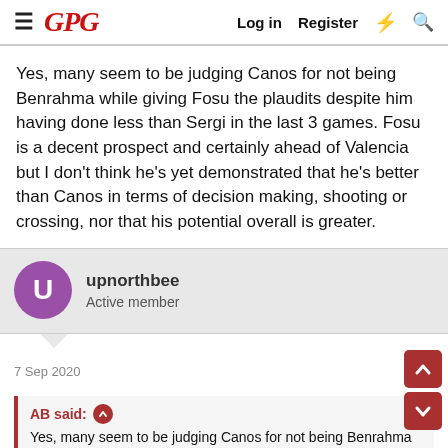GPG   Log in   Register
Yes, many seem to be judging Canos for not being Benrahma while giving Fosu the plaudits despite him having done less than Sergi in the last 3 games. Fosu is a decent prospect and certainly ahead of Valencia but I don't think he's yet demonstrated that he's better than Canos in terms of decision making, shooting or crossing, nor that his potential overall is greater.
upnorthbee
Active member
7 Sep 2020
AB said:
Yes, many seem to be judging Canos for not being Benrahma while giving Fosu the plaudits despite him having done less than